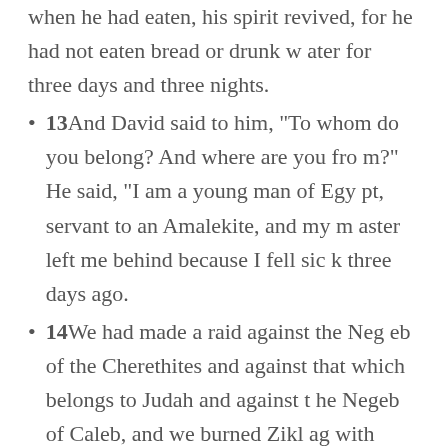when he had eaten, his spirit revived, for he had not eaten bread or drunk water for three days and three nights.
13And David said to him, "To whom do you belong? And where are you from?" He said, "I am a young man of Egypt, servant to an Amalekite, and my master left me behind because I fell sick three days ago.
14We had made a raid against the Negeb of the Cherethites and against that which belongs to Judah and against the Negeb of Caleb, and we burned Ziklag with fire."
15And David said to him, "Will you tak